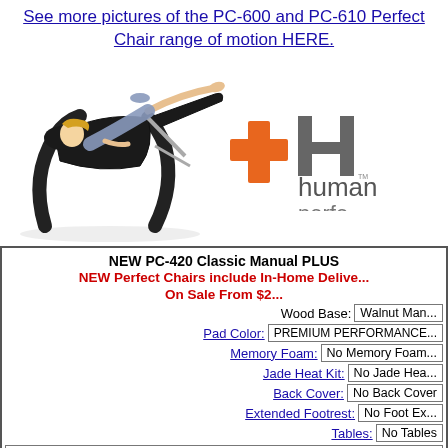See more pictures of the PC-600 and PC-610 Perfect Chair range of motion HERE.
[Figure (photo): Woman reclining in a black zero-gravity Perfect Chair with curved wood base, alongside the Human Touch 'perfect' logo with orange plus sign]
NEW PC-420 Classic Manual PLUS
NEW Perfect Chairs include In-Home Delive... On Sale From $2...
| Wood Base: | Walnut Man... |
| Pad Color: | PREMIUM PERFORMANCE... |
| Memory Foam: | No Memory Foam... |
| Jade Heat Kit: | No Jade Heat... |
| Back Cover: | No Back Cover |
| Extended Footrest: | No Foot Ex... |
| Tables: | No Tables |
| Standard Factory Seven Year In-Ho... |
| White Glove Inside Delivery & Setup Continen... |